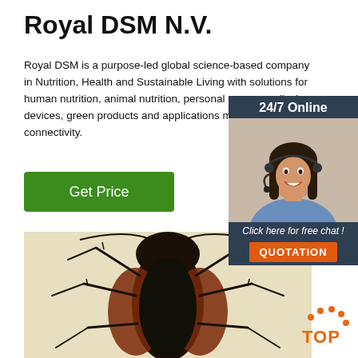Royal DSM N.V.
Royal DSM is a purpose-led global science-based company in Nutrition, Health and Sustainable Living with solutions for human nutrition, animal nutrition, personal care a medical devices, green products and applications mobility and connectivity.
[Figure (other): Green 'Get Price' button]
[Figure (other): 24/7 Online chat widget with female customer service agent wearing headset, dark blue background, 'Click here for free chat!' text and orange QUOTATION button]
[Figure (photo): Close-up photograph of a cockroach (dark/black with red-brown coloring) seen from above on a light beige background]
[Figure (logo): Orange TOP logo with dots arranged in arc above the text 'TOP']